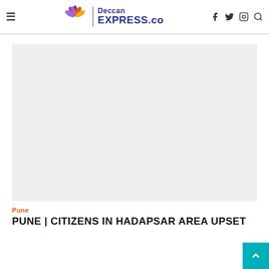≡  Deccan EXPRESS.co  [facebook] [twitter] [instagram] [search]
[Figure (other): Large light gray advertisement/placeholder block]
Pune
PUNE | CITIZENS IN HADAPSAR AREA UPSET